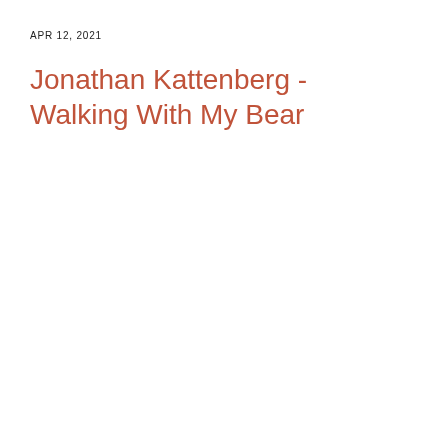APR 12, 2021
Jonathan Kattenberg - Walking With My Bear